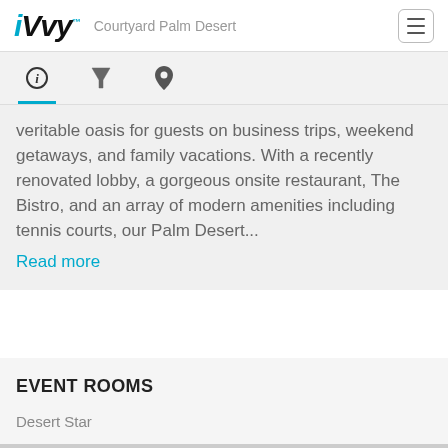iVvy Courtyard Palm Desert
veritable oasis for guests on business trips, weekend getaways, and family vacations. With a recently renovated lobby, a gorgeous onsite restaurant, The Bistro, and an array of modern amenities including tennis courts, our Palm Desert...
Read more
EVENT ROOMS
Desert Star